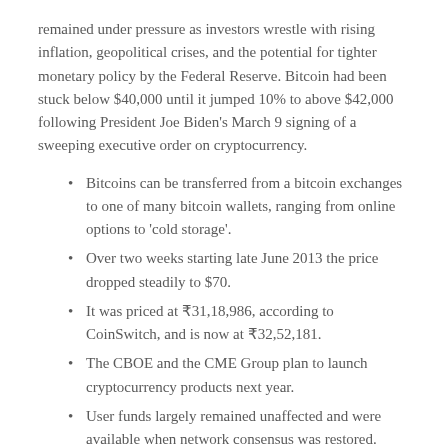remained under pressure as investors wrestle with rising inflation, geopolitical crises, and the potential for tighter monetary policy by the Federal Reserve. Bitcoin had been stuck below $40,000 until it jumped 10% to above $42,000 following President Joe Biden's March 9 signing of a sweeping executive order on cryptocurrency.
Bitcoins can be transferred from a bitcoin exchanges to one of many bitcoin wallets, ranging from online options to 'cold storage'.
Over two weeks starting late June 2013 the price dropped steadily to $70.
It was priced at ₹31,18,986, according to CoinSwitch, and is now at ₹32,52,181.
The CBOE and the CME Group plan to launch cryptocurrency products next year.
User funds largely remained unaffected and were available when network consensus was restored.
The word 'crypto' in 'cryptocurrency' comes from the word